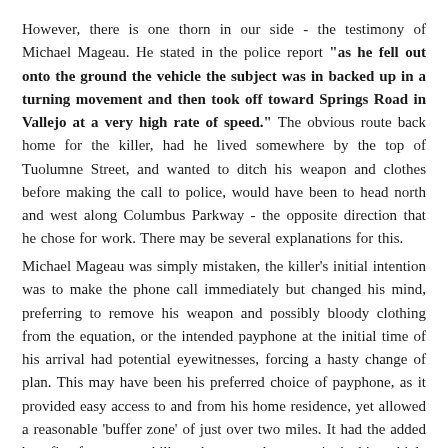However, there is one thorn in our side - the testimony of Michael Mageau. He stated in the police report "as he fell out onto the ground the vehicle the subject was in backed up in a turning movement and then took off toward Springs Road in Vallejo at a very high rate of speed." The obvious route back home for the killer, had he lived somewhere by the top of Tuolumne Street, and wanted to ditch his weapon and clothes before making the call to police, would have been to head north and west along Columbus Parkway - the opposite direction that he chose for work. There may be several explanations for this.
Michael Mageau was simply mistaken, the killer's initial intention was to make the phone call immediately but changed his mind, preferring to remove his weapon and possibly bloody clothing from the equation, or the intended payphone at the initial time of his arrival had potential eyewitnesses, forcing a hasty change of plan. This may have been his preferred choice of payphone, as it provided easy access to and from his home residence, yet allowed a reasonable 'buffer zone' of just over two miles. It had the added benefit of a voyeur killer who wanted to remain in his vehicle and watch responding officers scurry into action from the police station, along Springs Road to the crime scene. It